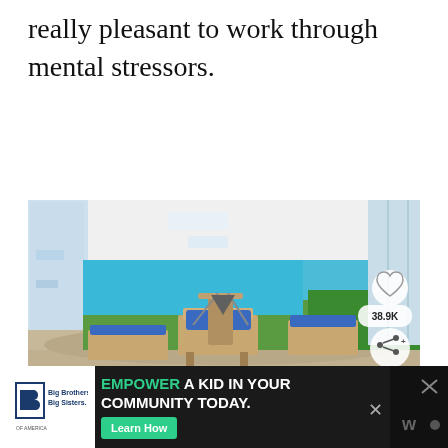really pleasant to work through mental stressors.
[Figure (photo): Bright, modern pilates/fitness studio with large glass walls and ocean/coastline view. Pilates reformer equipment visible on wood floor. Turquoise water and tropical greenery in background. White ceiling with strip lighting. Heart icon and share button overlay on right side with 38.9K count.]
[Figure (infographic): Advertisement bar at bottom: Big Brothers Big Sisters of America logo on white background left side. Green text 'EMPOWER' followed by 'A KID IN YOUR COMMUNITY TODAY.' white text on dark background. Green 'Learn How' button. Close X button. Right side dark panel with icons.]